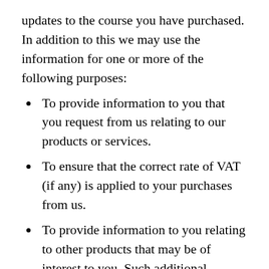updates to the course you have purchased. In addition to this we may use the information for one or more of the following purposes:
To provide information to you that you request from us relating to our products or services.
To ensure that the correct rate of VAT (if any) is applied to your purchases from us.
To provide information to you relating to other products that may be of interest to you. Such additional information will only be provided where you have